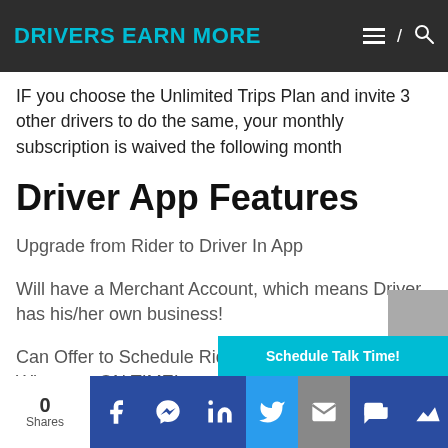DRIVERS EARN MORE
IF you choose the Unlimited Trips Plan and invite 3 other drivers to do the same, your monthly subscription is waived the following month
Driver App Features
Upgrade from Rider to Driver In App
Will have a Merchant Account, which means Driver has his/her own business!
Can Offer to Schedule Rides and Get People Wherever ON TIME!
0 Shares [social share icons: Facebook, Messenger, LinkedIn, Twitter, Email, SMS, More]